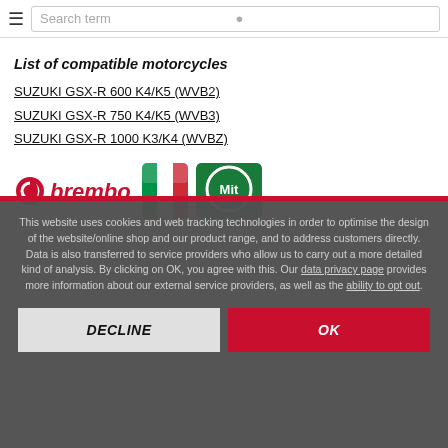Search term
List of compatible motorcycles
SUZUKI GSX-R 600 K4/K5 (WVB2)
SUZUKI GSX-R 750 K4/K5 (WVB3)
SUZUKI GSX-R 1000 K3/K4 (WVBZ)
[Figure (logo): Brembo logo with Italian flag and Mit badge]
This website uses cookies and web tracking technologies in order to optimise the design of the website/online shop and our product range, and to address customers directly. Data is also transferred to service providers who allow us to carry out a more detailed kind of analysis. By clicking on OK, you agree with this. Our data privacy page provides more information about our external service providers, as well as the ability to opt out.
DECLINE
OK